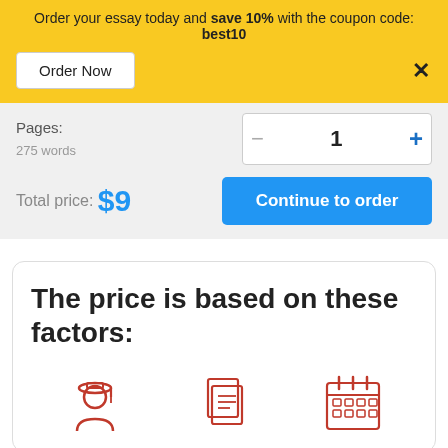Order your essay today and save 10% with the coupon code: best10
Order Now
Pages:
275 words
−   1   +
Total price:  $9
Continue to order
The price is based on these factors:
[Figure (illustration): Three red outline icons: a graduating student, a document/pages stack, and a calendar]